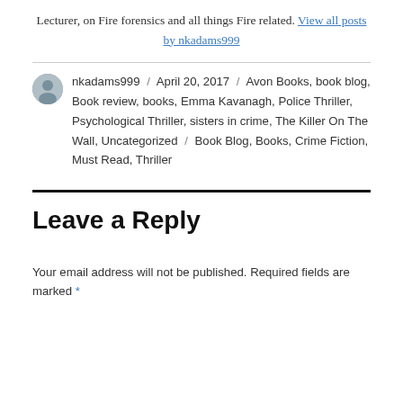Lecturer, on Fire forensics and all things Fire related. View all posts by nkadams999
nkadams999 / April 20, 2017 / Avon Books, book blog, Book review, books, Emma Kavanagh, Police Thriller, Psychological Thriller, sisters in crime, The Killer On The Wall, Uncategorized / Book Blog, Books, Crime Fiction, Must Read, Thriller
Leave a Reply
Your email address will not be published. Required fields are marked *